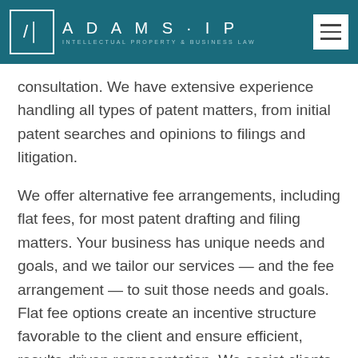ADAMS·IP INTELLECTUAL PROPERTY & BUSINESS LAW
consultation. We have extensive experience handling all types of patent matters, from initial patent searches and opinions to filings and litigation.
We offer alternative fee arrangements, including flat fees, for most patent drafting and filing matters. Your business has unique needs and goals, and we tailor our services — and the fee arrangement — to suit those needs and goals. Flat fee options create an incentive structure favorable to the client and ensure efficient, results-driven representation. We assist clients throughout the state including Mobile, Huntsville, and